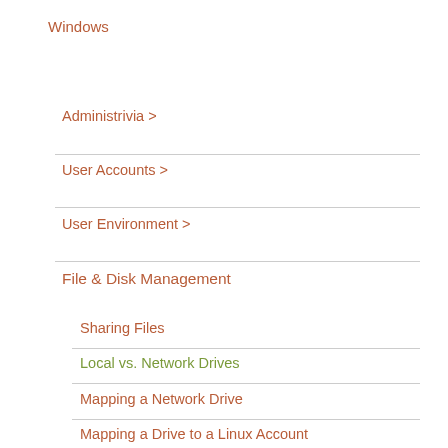Windows
Administrivia >
User Accounts >
User Environment >
File & Disk Management
Sharing Files
Local vs. Network Drives
Mapping a Network Drive
Mapping a Drive to a Linux Account
Restoring a File with Shadow Copy
Recycle Bin Behavior